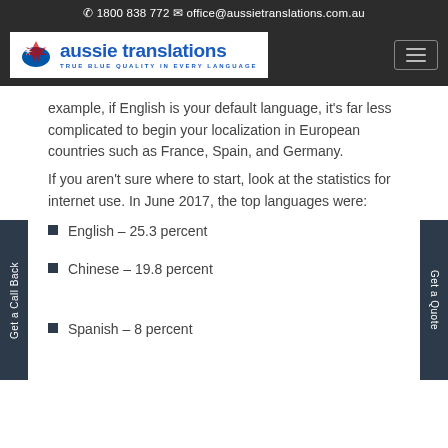☎ 1800 838 772  ✉ office@aussietranslations.com.au
[Figure (logo): Aussie Translations logo - blue text with Australian map icon, tagline TRUE BLUE QUALITY IN EVERY LANGUAGE]
example, if English is your default language, it's far less complicated to begin your localization in European countries such as France, Spain, and Germany.
If you aren't sure where to start, look at the statistics for internet use. In June 2017, the top languages were:
English – 25.3 percent
Chinese – 19.8 percent
Spanish – 8 percent